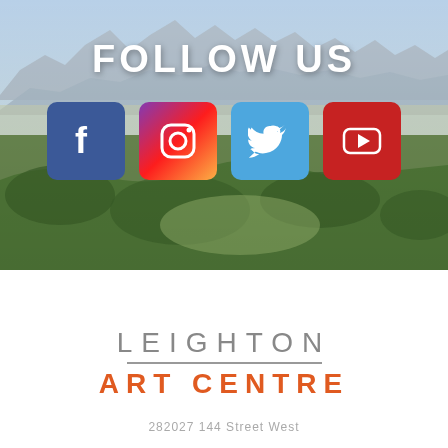[Figure (photo): Aerial landscape photo showing mountains in the background, forested rolling hills and plains in the foreground under blue sky]
FOLLOW US
[Figure (infographic): Four social media icons: Facebook (blue), Instagram (pink/red gradient), Twitter (light blue), YouTube (red)]
LEIGHTON
ART CENTRE
282027 144 Street West